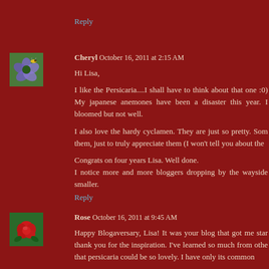Reply
Cheryl October 16, 2011 at 2:15 AM
[Figure (photo): Avatar photo of Cheryl showing purple flowers with a bee]
Hi Lisa,

I like the Persicaria....I shall have to think about that one :0) My japanese anemones have been a disaster this year. I bloomed but not well.

I also love the hardy cyclamen. They are just so pretty. Som them, just to truly appreciate them (I won't tell you about the

Congrats on four years Lisa. Well done.
I notice more and more bloggers dropping by the wayside smaller.
Reply
Rose October 16, 2011 at 9:45 AM
[Figure (photo): Avatar photo of Rose showing a red rose flower]
Happy Blogaversary, Lisa! It was your blog that got me star thank you for the inspiration. I've learned so much from othe that persicaria could be so lovely. I have only its common